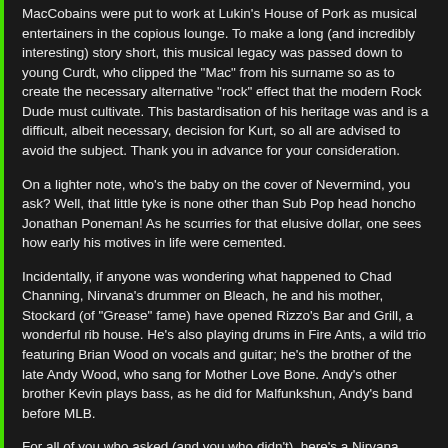MacCobains were put to work at Lukin's House of Pork as musical entertainers in the copious lounge. To make a long (and incredibly interesting) story short, this musical legacy was passed down to young Curdt, who clipped the "Mac" from his surname so as to create the necessary alternative "rock" effect that the modern Rock Dude must cultivate. This bastardisation of his heritage was and is a difficult, albeit necessary, decision for Kurt, so all are advised to avoid the subject. Thank you in advance for your consideration.
On a lighter note, who's the baby on the cover of Nevermind, you ask? Well, that little tyke is none other than Sub Pop head honcho Jonathan Poneman! As he scurries for that elusive dollar, one sees how early his motives in life were cemented.
Incidentally, if anyone was wondering what happened to Chad Channing, Nirvana's drummer on Bleach, he and his mother, Stockard (of "Grease" fame) have opened Rizzo's Bar and Grill, a wonderful rib house. He's also playing drums in Fire Ants, a wild trio featuring Brian Wood on vocals and guitar; he's the brother of the late Andy Wood, who sang for Mother Love Bone. Andy's other brother Kevin plays bass, as he did for Malfunkshun, Andy's band before MLB.
For all of you who asked (and you who didn't), here's a Nirvana discography, as complete as we could do with our lame memories, and not in any particular order. We'll do a big ol' formal one down the line in a FAN CLUB NEWSLETTER or something.
"Love Buzz" / "Big Cheese" 7" (Sub Pop)
Bleach LP (Sub Pop) 1st 1000 on white vinyl, next 2000 with poster
"Blew" EP (Tupelo - import) with Love Buzz and unreleased Been A Son & Stain